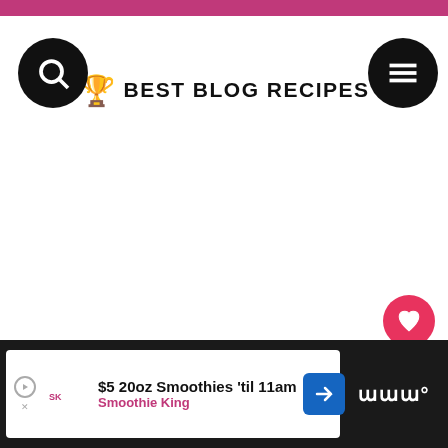Best Blog Recipes
[Figure (screenshot): Main content area (white/blank)]
[Figure (infographic): Heart/like button with 3.5K count and share button on right sidebar]
[Figure (infographic): What's Next panel: Cinnamon Dessert... with thumbnail]
[Figure (infographic): Advertisement bar: $5 20oz Smoothies 'til 11am - Smoothie King]